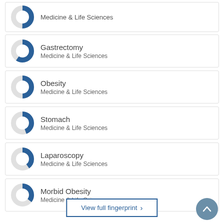Medicine & Life Sciences
Gastrectomy
Medicine & Life Sciences
Obesity
Medicine & Life Sciences
Stomach
Medicine & Life Sciences
Laparoscopy
Medicine & Life Sciences
Morbid Obesity
Medicine & Life Sciences
View full fingerprint ›